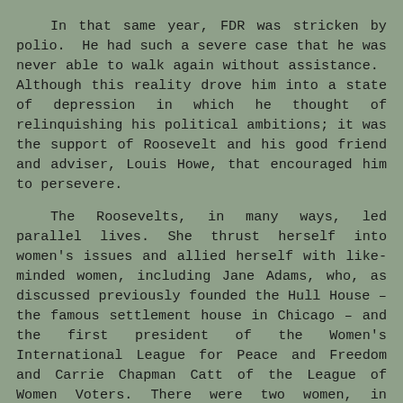In that same year, FDR was stricken by polio. He had such a severe case that he was never able to walk again without assistance. Although this reality drove him into a state of depression in which he thought of relinquishing his political ambitions; it was the support of Roosevelt and his good friend and adviser, Louis Howe, that encouraged him to persevere.

The Roosevelts, in many ways, led parallel lives. She thrust herself into women's issues and allied herself with like-minded women, including Jane Adams, who, as discussed previously founded the Hull House – the famous settlement house in Chicago – and the first president of the Women's International League for Peace and Freedom and Carrie Chapman Catt of the League of Women Voters. There were two women, in particular, that she became deeply involved with – Marion Dickerman and Nancy Cook. So strong was this bond that FDR built a stone cottage in Hyde Park, the family estate, called Val-Kill for these three women as their retreat. In 1927, Cook purchased the Todhunter School who purpose was to wage political warfare against what was perceived to be reactionary